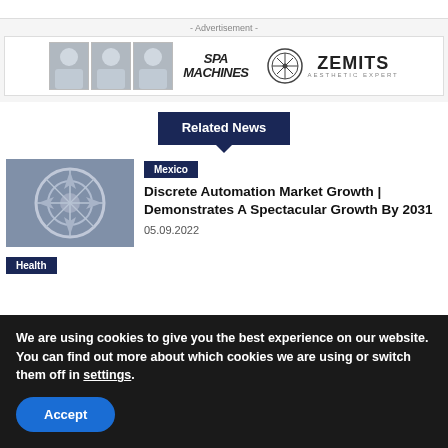[Figure (photo): Advertisement banner for Spa Machines and Zemits aesthetic expert, featuring three photos of a woman and brand logos]
Related News
[Figure (photo): Thumbnail image of industrial machinery/gear component]
Mexico
Discrete Automation Market Growth | Demonstrates A Spectacular Growth By 2031
05.09.2022
Health
We are using cookies to give you the best experience on our website.
You can find out more about which cookies we are using or switch them off in settings.
Accept